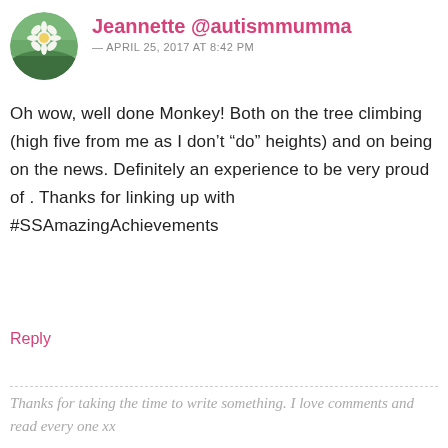[Figure (photo): Circular avatar photo showing a daisy flower against a green field background]
Jeannette @autismmumma
— APRIL 25, 2017 AT 8:42 PM
Oh wow, well done Monkey! Both on the tree climbing (high five from me as I don't “do” heights) and on being on the news. Definitely an experience to be very proud of . Thanks for linking up with #SSAmazingAchievements
Reply
Thanks for taking the time to write something. I love comments and read every one xx
Your email address will not be published. Required fields are marked *